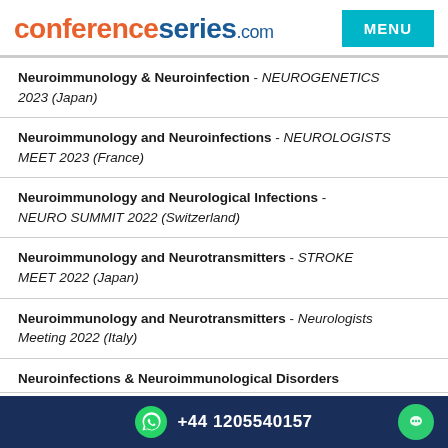conferenceseries.com
Neuroimmunology & Neuroinfection - NEUROGENETICS 2023 (Japan)
Neuroimmunology and Neuroinfections - NEUROLOGISTS MEET 2023 (France)
Neuroimmunology and Neurological Infections - NEURO SUMMIT 2022 (Switzerland)
Neuroimmunology and Neurotransmitters - STROKE MEET 2022 (Japan)
Neuroimmunology and Neurotransmitters - Neurologists Meeting 2022 (Italy)
Neuroinfections & Neuroimmunological Disorders
+44 1205540157